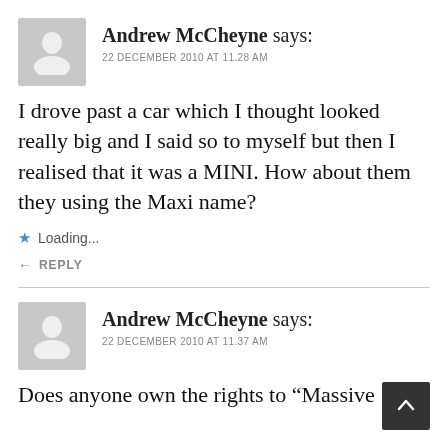Andrew McCheyne says:
22 DECEMBER 2010 AT 11.28 AM
I drove past a car which I thought looked really big and I said so to myself but then I realised that it was a MINI. How about them they using the Maxi name?
Loading...
REPLY
Andrew McCheyne says:
22 DECEMBER 2010 AT 11.37 AM
Does anyone own the rights to “Massive”?